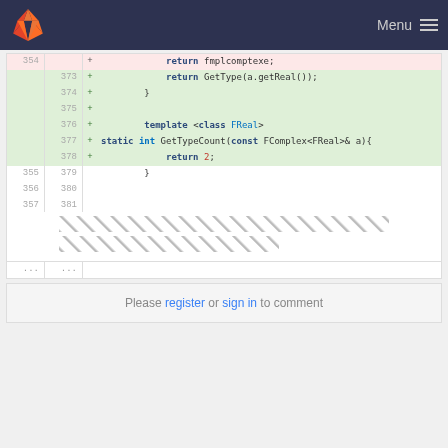GitLab — Menu
[Figure (screenshot): Code diff view showing lines 354-381 with added lines 373-378 highlighted in green. Added lines include: return GetType(a.getReal());, closing brace, blank line, template <class FReal>, static int GetTypeCount(const FComplex<FReal>& a){, return 2;. Lines 355-357 (379-381) are neutral. A hatch pattern appears at the bottom of the diff.]
Please register or sign in to comment